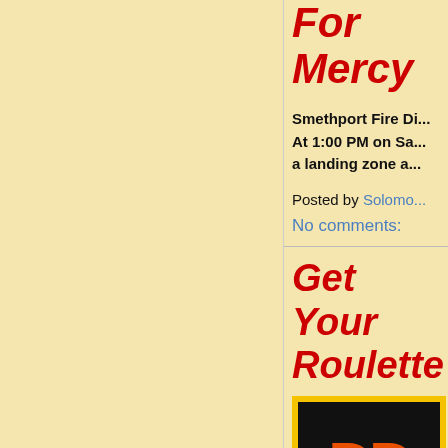For Mercy
Smethport Fire Di... At 1:00 PM on Sa... a landing zone a...
Posted by Solomo...
No comments:
Get Your Roulette
[Figure (logo): Orange letters 'DD' on black background with yellow border, advertisement image]